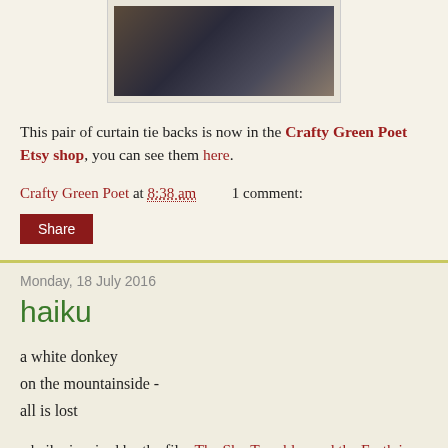[Figure (photo): Partial photo of curtain tie backs, dark tones with fabric visible]
This pair of curtain tie backs is now in the Crafty Green Poet Etsy shop, you can see them here.
Crafty Green Poet at 8:38 am   1 comment:
Share
Monday, 18 July 2016
haiku
a white donkey
on the mountainside -
all is lost
a haiku inspired by the film The Sky Trembles and the Earth is Afraid and the Two Eyes are Not Brothers